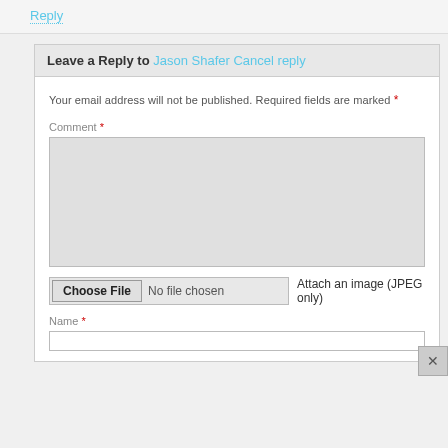Reply
Leave a Reply to Jason Shafer Cancel reply
Your email address will not be published. Required fields are marked *
Comment *
Choose File  No file chosen  Attach an image (JPEG only)
Name *